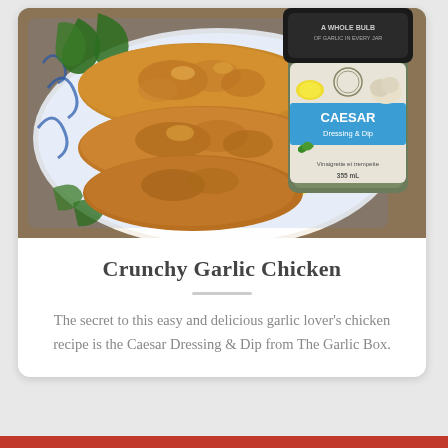[Figure (photo): Photo of crunchy breaded chicken pieces on a decorative plate with blue and white patterns and lemon/leaf motifs, garnished with kale. A jar of Caesar Dressing & Dip from The Garlic Box (labeled 'A Whole Bulb of Garlic In Every Jar', 355mL) sits to the right on a wooden surface.]
Crunchy Garlic Chicken
The secret to this easy and delicious garlic lover's chicken recipe is the Caesar Dressing & Dip from The Garlic Box.